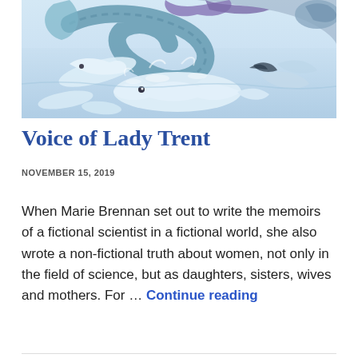[Figure (illustration): Fantasy illustration of sea creatures including a large dragon/sea serpent with purple and blue scales, white whale-like creatures, and various marine animals in a dynamic ocean scene.]
Voice of Lady Trent
NOVEMBER 15, 2019
When Marie Brennan set out to write the memoirs of a fictional scientist in a fictional world, she also wrote a non-fictional truth about women, not only in the field of science, but as daughters, sisters, wives and mothers. For … Continue reading